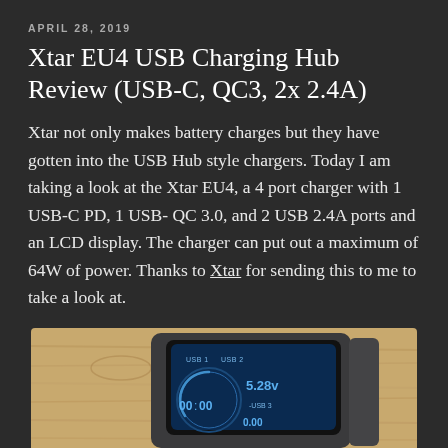APRIL 28, 2019
Xtar EU4 USB Charging Hub Review (USB-C, QC3, 2x 2.4A)
Xtar not only makes battery charges but they have gotten into the USB Hub style chargers. Today I am taking a look at the Xtar EU4, a 4 port charger with 1 USB-C PD, 1 USB- QC 3.0, and 2 USB 2.4A ports and an LCD display. The charger can put out a maximum of 64W of power. Thanks to Xtar for sending this to me to take a look at.
[Figure (photo): Photo of the Xtar EU4 USB charging hub on a wooden surface, showing the device's LCD display reading 5.28V and USB port labels USB1, USB2, USB3.]